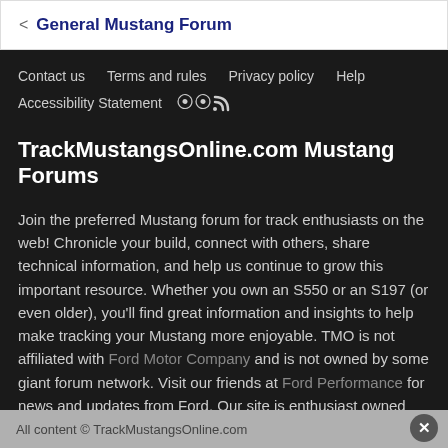< General Mustang Forum
Contact us   Terms and rules   Privacy policy   Help   Accessibility Statement  [RSS]
TrackMustangsOnline.com Mustang Forums
Join the preferred Mustang forum for track enthusiasts on the web! Chronicle your build, connect with others, share technical information, and help us continue to grow this important resource. Whether you own an S550 or an S197 (or even older), you'll find great information and insights to help make tracking your Mustang more enjoyable. TMO is not affiliated with Ford Motor Company and is not owned by some giant forum network. Visit our friends at Ford Performance for news and updates from Ford. Our site is enthusiast owned and we are dedicated to making a positive impact in the Ford Mustang community. Where you spend your time online matters - we'd love for you to join and participate here to share your passion for Track Mustangs!
All content © TrackMustangsOnline.com